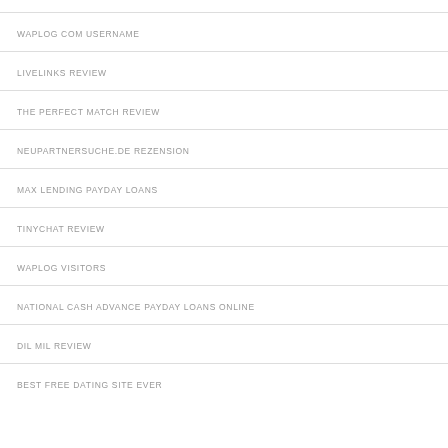WAPLOG COM USERNAME
LIVELINKS REVIEW
THE PERFECT MATCH REVIEW
NEUPARTNERSUCHE.DE REZENSION
MAX LENDING PAYDAY LOANS
TINYCHAT REVIEW
WAPLOG VISITORS
NATIONAL CASH ADVANCE PAYDAY LOANS ONLINE
DIL MIL REVIEW
BEST FREE DATING SITE EVER